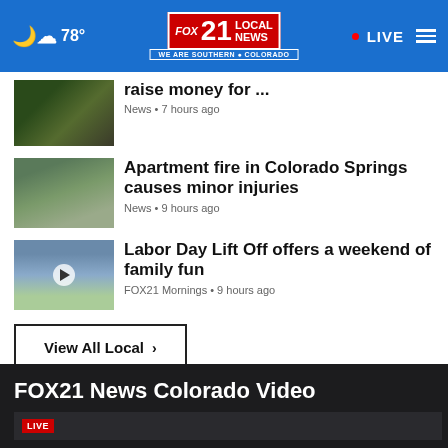78° FOX21 LOCAL NEWS WE ARE SOUTHERN COLORADO • LIVE
raise money for ... News • 7 hours ago
Apartment fire in Colorado Springs causes minor injuries News • 9 hours ago
Labor Day Lift Off offers a weekend of family fun FOX21 Mornings • 9 hours ago
View All Local ›
FOX21 News Colorado Video